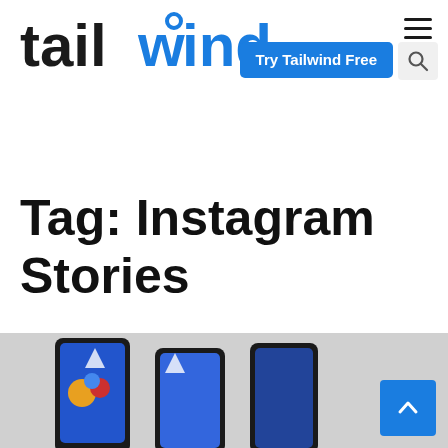[Figure (logo): Tailwind logo in black and blue text]
[Figure (other): Blue 'Try Tailwind Free' button and search icon in navigation bar]
Tag: Instagram Stories
[Figure (photo): Photo of phones/tablets with colorful screen showing hot air balloons, partially cropped at bottom of page]
[Figure (other): Blue scroll-to-top button with upward chevron arrow]